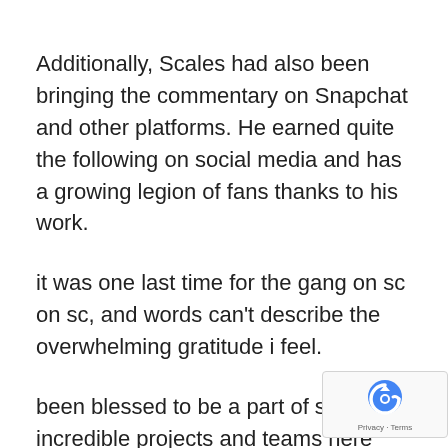Additionally, Scales had also been bringing the commentary on Snapchat and other platforms. He earned quite the following on social media and has a growing legion of fans thanks to his work.
it was one last time for the gang on sc on sc, and words can't describe the overwhelming gratitude i feel.
been blessed to be a part of some incredible projects and teams here @espn, but this chapter is clo…
[Figure (logo): Google reCAPTCHA badge with Privacy and Terms links]